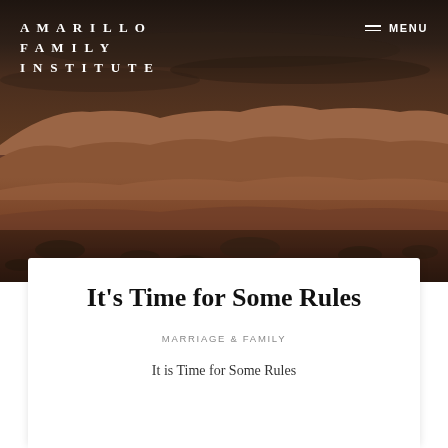[Figure (photo): Landscape photo of red rock canyon/mesa terrain with dark cloudy sky, resembling the Texas Panhandle or Palo Duro Canyon area.]
AMARILLO FAMILY INSTITUTE
Clothing
It’s Time for Some Rules
MARRIAGE & FAMILY
It is Time for Some Rules